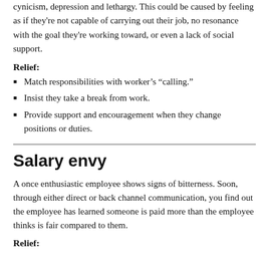cynicism, depression and lethargy. This could be caused by feeling as if they're not capable of carrying out their job, no resonance with the goal they're working toward, or even a lack of social support.
Relief:
Match responsibilities with worker's “calling.”
Insist they take a break from work.
Provide support and encouragement when they change positions or duties.
Salary envy
A once enthusiastic employee shows signs of bitterness. Soon, through either direct or back channel communication, you find out the employee has learned someone is paid more than the employee thinks is fair compared to them.
Relief: